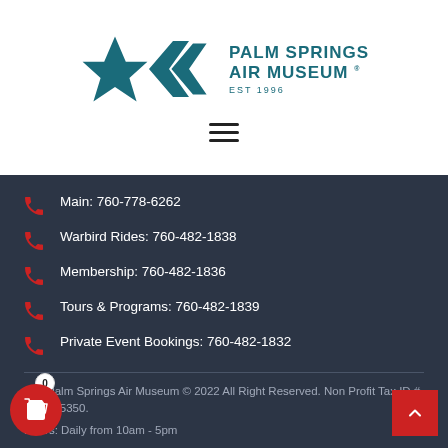[Figure (logo): Palm Springs Air Museum logo with teal star/arrow icon and text 'PALM SPRINGS AIR MUSEUM EST 1996']
[Figure (other): Hamburger menu icon (three horizontal lines)]
Main: 760-778-6262
Warbird Rides: 760-482-1838
Membership: 760-482-1836
Tours & Programs: 760-482-1839
Private Event Bookings: 760-482-1832
The Palm Springs Air Museum © 2022 All Right Reserved. Non Profit Tax ID # 33-0615350.
Hours: Daily from 10am - 5pm